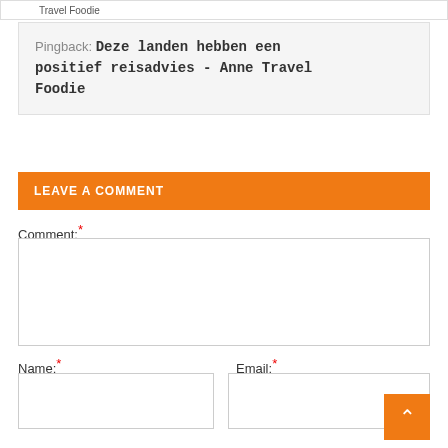Travel Foodie
Pingback: Deze landen hebben een positief reisadvies - Anne Travel Foodie
LEAVE A COMMENT
Comment:*
Name:*
Email:*